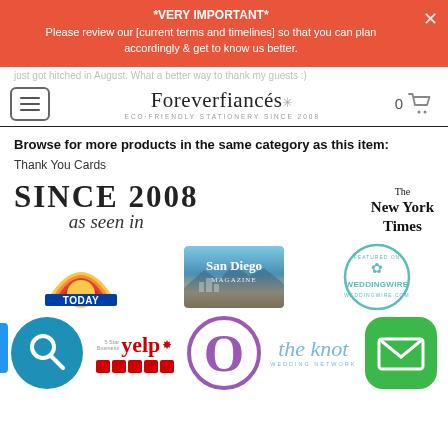*VERY IMPORTANT* Please review our [current terms and timelines] so that you can plan accordingly & get to know us better.
just got hitched in August. What a better way to thank my guests :)
Foreverfiancés ECO-FRIENDLY STATIONERY SINCE 2008
Browse for more products in the same category as this item:
Thank You Cards
[Figure (logo): SINCE 2008 as seen in - brand tagline block]
[Figure (logo): The New York Times logo]
[Figure (logo): TODAY show logo with rainbow graphic]
[Figure (logo): San Diego Magazine logo]
[Figure (logo): WeddingWire featured badge]
[Figure (logo): Search icon in blue circle]
[Figure (logo): Yelp 5-star business logo]
[Figure (logo): Oprah O Magazine circle logo]
[Figure (logo): The Knot wedding network logo]
[Figure (logo): Email/mail icon in green rounded square]